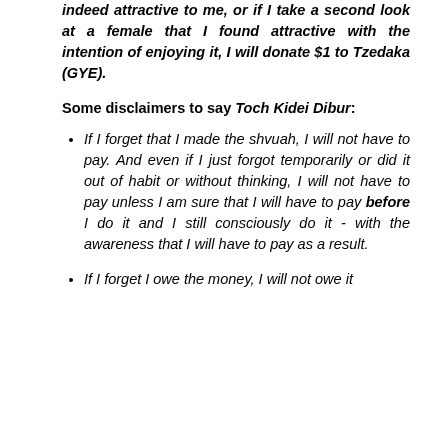indeed attractive to me, or if I take a second look at a female that I found attractive with the intention of enjoying it, I will donate $1 to Tzedaka (GYE).
Some disclaimers to say Toch Kidei Dibur:
If I forget that I made the shvuah, I will not have to pay. And even if I just forgot temporarily or did it out of habit or without thinking, I will not have to pay unless I am sure that I will have to pay before I do it and I still consciously do it - with the awareness that I will have to pay as a result.
If I forget I owe the money, I will not owe it